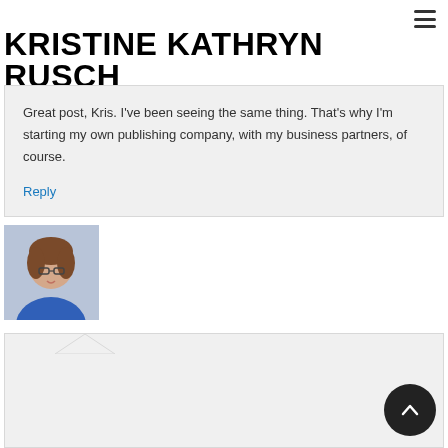KRISTINE KATHRYN RUSCH
Great post, Kris. I've been seeing the same thing. That's why I'm starting my own publishing company, with my business partners, of course.
Reply
[Figure (photo): Avatar photo of a woman with glasses and brown hair, wearing a blue top]
[Figure (other): Partial second comment box at bottom of page]